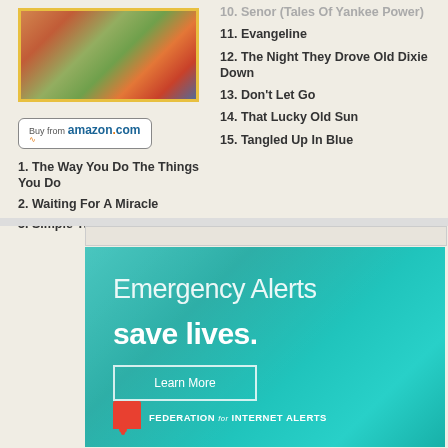[Figure (photo): Album cover photo showing a group of people]
[Figure (other): Buy from amazon.com button]
1. The Way You Do The Things You Do
2. Waiting For A Miracle
3. Simple Twist Of Fate
10. Senor (Tales Of Yankee Power)
11. Evangeline
12. The Night They Drove Old Dixie Down
13. Don't Let Go
14. That Lucky Old Sun
15. Tangled Up In Blue
[Figure (infographic): Emergency Alerts save lives. Learn More. Federation for Internet Alerts advertisement banner with teal background.]